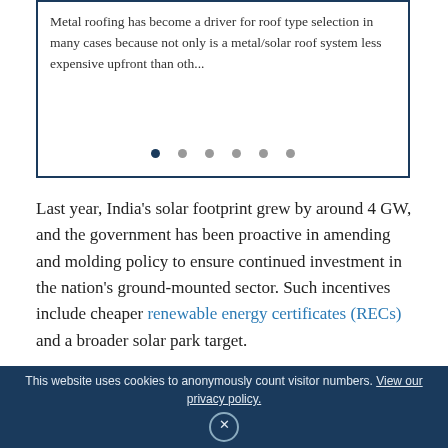Metal roofing has become a driver for roof type selection in many cases because not only is a metal/solar roof system less expensive upfront than oth...
Last year, India's solar footprint grew by around 4 GW, and the government has been proactive in amending and molding policy to ensure continued investment in the nation's ground-mounted sector. Such incentives include cheaper renewable energy certificates (RECs) and a broader solar park target.
The market has duly responded, posting some of the world's cheapest solar power prices – most notably in
This website uses cookies to anonymously count visitor numbers. View our privacy policy.